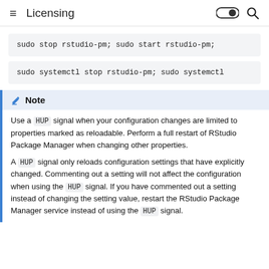Licensing
Note
Use a HUP signal when your configuration changes are limited to properties marked as reloadable. Perform a full restart of RStudio Package Manager when changing other properties.
A HUP signal only reloads configuration settings that have explicitly changed. Commenting out a setting will not affect the configuration when using the HUP signal. If you have commented out a setting instead of changing the setting value, restart the RStudio Package Manager service instead of using the HUP signal.